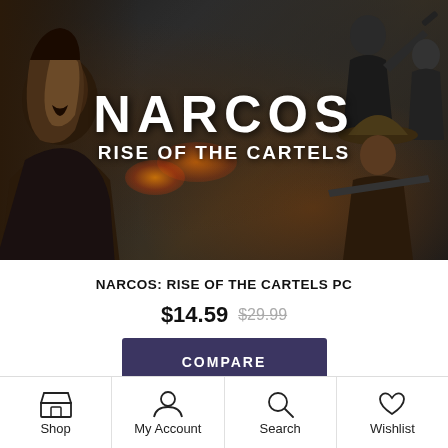[Figure (photo): Narcos: Rise of the Cartels game cover art showing dramatic characters and the title text 'NARCOS RISE OF THE CARTELS' in bold white letters on a dark, gritty background with fire and action scenes.]
NARCOS: RISE OF THE CARTELS PC
$14.59 $29.99
COMPARE
Shop | My Account | Search | Wishlist